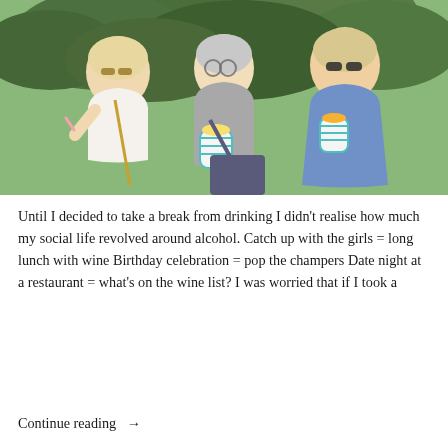[Figure (photo): Three older women with grey/blonde hair and sunglasses laughing and eating ice cream from striped cups outdoors, with palm trees in the background. One carries a large tote bag.]
Until I decided to take a break from drinking I didn't realise how much my social life revolved around alcohol. Catch up with the girls = long lunch with wine Birthday celebration = pop the champers Date night at a restaurant = what's on the wine list? I was worried that if I took a
Continue reading →